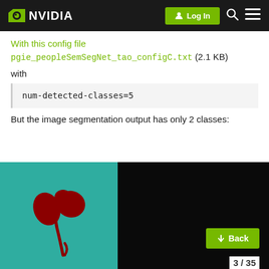NVIDIA | Log In
With this config file pgie_peopleSemSegNet_tao_configC.txt (2.1 KB)
with
num-detected-classes=5
But the image segmentation output has only 2 classes:
[Figure (photo): Image segmentation output showing a red plant/flower shape on a teal/green background on the left half, and a black background on the right half.]
Back
3 / 35